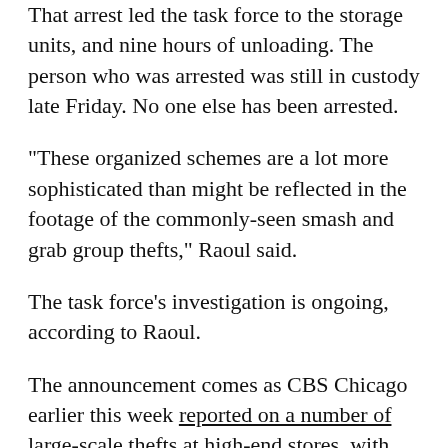That arrest led the task force to the storage units, and nine hours of unloading. The person who was arrested was still in custody late Friday. No one else has been arrested.
"These organized schemes are a lot more sophisticated than might be reflected in the footage of the commonly-seen smash and grab group thefts," Raoul said.
The task force's investigation is ongoing, according to Raoul.
The announcement comes as CBS Chicago earlier this week reported on a number of large-scale thefts at high-end stores, with businesses fearing the incidents could drive shoppers away.